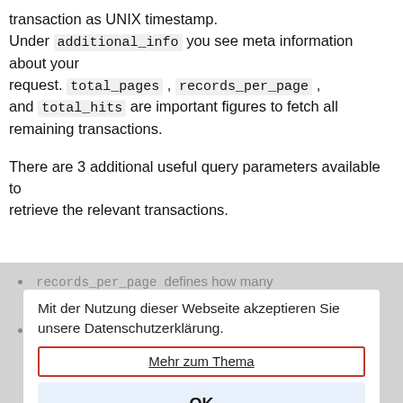transaction as UNIX timestamp. Under additional_info you see meta information about your request. total_pages , records_per_page , and total_hits are important figures to fetch all remaining transactions.
There are 3 additional useful query parameters available to retrieve the relevant transactions.
records_per_page defines how many that backing that_vu...
If the result has more transactions than defined in records_per_page , you can jump to the next/previous page by incrementing/decrementing the current value of page .
displayed_fields defines which fields/parameters of the transactions should be
Mit der Nutzung dieser Webseite akzeptieren Sie unsere Datenschutzerklärung.
Mehr zum Thema
OK